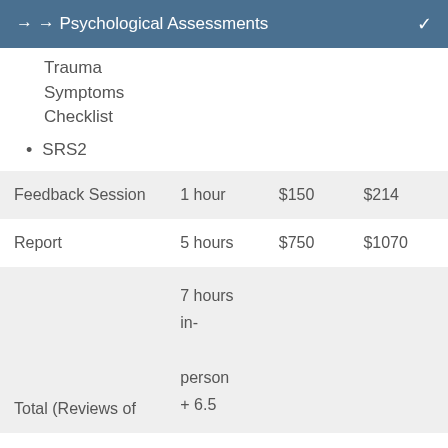→ → Psychological Assessments
Trauma Symptoms Checklist
SRS2
|  |  |  |  |
| --- | --- | --- | --- |
| Feedback Session | 1 hour | $150 | $214 |
| Report | 5 hours | $750 | $1070 |
| Total (Reviews of | 7 hours in-person + 6.5 |  |  |